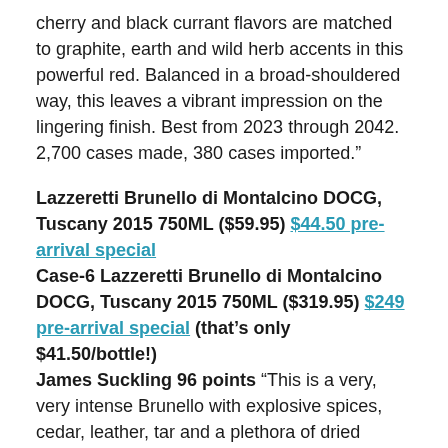cherry and black currant flavors are matched to graphite, earth and wild herb accents in this powerful red. Balanced in a broad-shouldered way, this leaves a vibrant impression on the lingering finish. Best from 2023 through 2042. 2,700 cases made, 380 cases imported.”
Lazzeretti Brunello di Montalcino DOCG, Tuscany 2015 750ML ($59.95) $44.50 pre-arrival special Case-6 Lazzeretti Brunello di Montalcino DOCG, Tuscany 2015 750ML ($319.95) $249 pre-arrival special (that’s only $41.50/bottle!) James Suckling 96 points “This is a very, very intense Brunello with explosive spices, cedar, leather, tar and a plethora of dried plums and berries. The full-bodied palate is incredibly dense and bold, swathed in vast, comprehensive tannins and layer upon layer of plums and cherries. There’s marvelous length and decadence to the finish, where the dried spice character goes on